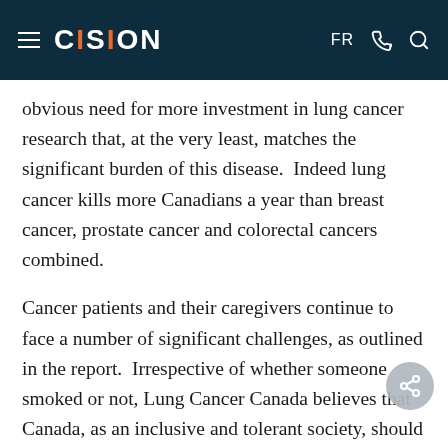CISION — FR
obvious need for more investment in lung cancer research that, at the very least, matches the significant burden of this disease.  Indeed lung cancer kills more Canadians a year than breast cancer, prostate cancer and colorectal cancers combined.
Cancer patients and their caregivers continue to face a number of significant challenges, as outlined in the report.  Irrespective of whether someone smoked or not, Lung Cancer Canada believes that Canada, as an inclusive and tolerant society, should be advocating for all patients with lung cancer, who all are deserving of the best care available.  Lung Cancer Canada urges all Canadians to step up and advocate